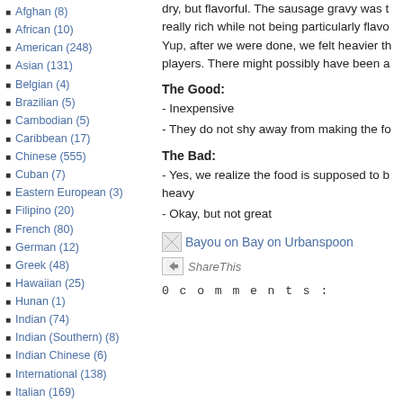Afghan (8)
African (10)
American (248)
Asian (131)
Belgian (4)
Brazilian (5)
Cambodian (5)
Caribbean (17)
Chinese (555)
Cuban (7)
Eastern European (3)
Filipino (20)
French (80)
German (12)
Greek (48)
Hawaiian (25)
Hunan (1)
Indian (74)
Indian (Southern) (8)
Indian Chinese (6)
International (138)
Italian (169)
dry, but flavorful. The sausage gravy was really rich while not being particularly flavo... Yup, after we were done, we felt heavier th... players. There might possibly have been a...
The Good:
- Inexpensive
- They do not shy away from making the fo...
The Bad:
- Yes, we realize the food is supposed to b... heavy
- Okay, but not great
[Figure (other): Bayou on Bay on Urbanspoon image link]
[Figure (other): ShareThis button]
0 c o m m e n t s :